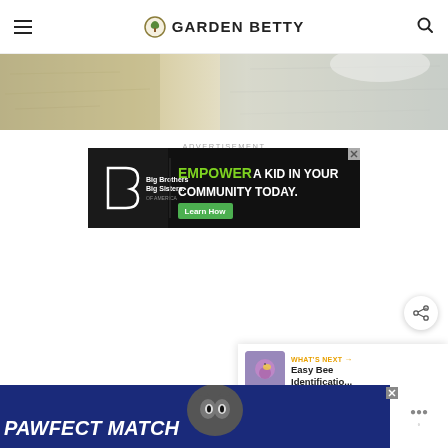GARDEN BETTY
[Figure (photo): Top portion of a photo showing a sandy/concrete surface, light beige and grey tones]
ADVERTISEMENT
[Figure (screenshot): Advertisement banner: Big Brothers Big Sisters logo with text 'EMPOWER A KID IN YOUR COMMUNITY TODAY.' and a green 'Learn How' button]
[Figure (screenshot): Bottom advertisement strip: Blue background with white italic bold text 'PAWFECT MATCH' and a cat illustration; right side shows a white panel with small icons]
WHAT'S NEXT → Easy Bee Identificatio...